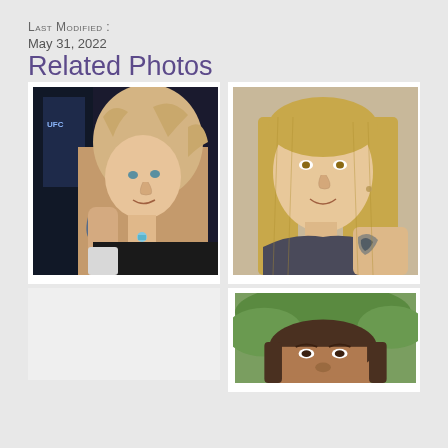Last Modified : May 31, 2022
Related Photos
[Figure (photo): Photo of a young woman with curly blonde hair and tattoos, posing indoors against a dark background with a UFC banner visible]
[Figure (photo): Photo of a woman with straight blonde hair against a beige/tan wall, showing tattoos on her arm]
[Figure (photo): Partial photo of a person's face, partially cut off at the bottom of the page, outdoors]